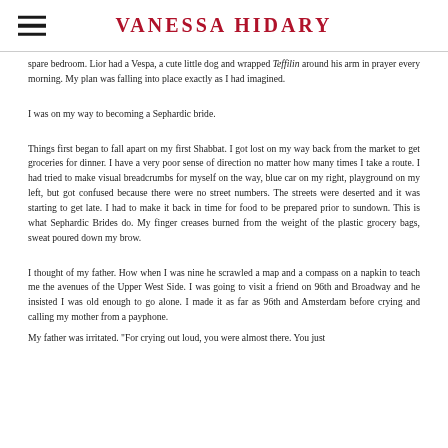Vanessa Hidary
spare bedroom. Lior had a Vespa, a cute little dog and wrapped Teffilin around his arm in prayer every morning. My plan was falling into place exactly as I had imagined.
I was on my way to becoming a Sephardic bride.
Things first began to fall apart on my first Shabbat. I got lost on my way back from the market to get groceries for dinner. I have a very poor sense of direction no matter how many times I take a route. I had tried to make visual breadcrumbs for myself on the way, blue car on my right, playground on my left, but got confused because there were no street numbers. The streets were deserted and it was starting to get late. I had to make it back in time for food to be prepared prior to sundown. This is what Sephardic Brides do. My finger creases burned from the weight of the plastic grocery bags, sweat poured down my brow.
I thought of my father. How when I was nine he scrawled a map and a compass on a napkin to teach me the avenues of the Upper West Side. I was going to visit a friend on 96th and Broadway and he insisted I was old enough to go alone. I made it as far as 96th and Amsterdam before crying and calling my mother from a payphone.
My father was irritated. "For crying out loud, you were almost there. You just